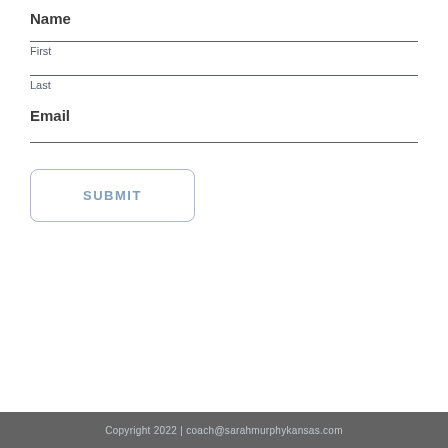Name
First
Last
Email
SUBMIT
Copyright 2022 | coach@sarahmurphykansas.com